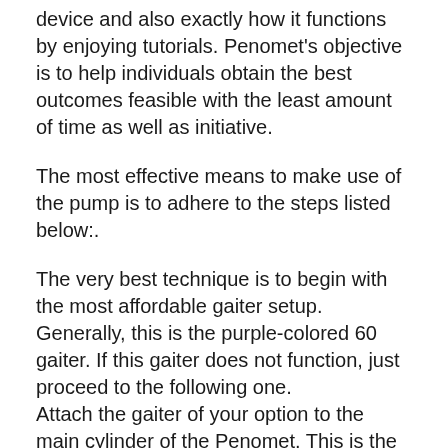device and also exactly how it functions by enjoying tutorials. Penomet's objective is to help individuals obtain the best outcomes feasible with the least amount of time as well as initiative.
The most effective means to make use of the pump is to adhere to the steps listed below:.
The very best technique is to begin with the most affordable gaiter setup. Generally, this is the purple-colored 60 gaiter. If this gaiter does not function, just proceed to the following one. Attach the gaiter of your option to the main cylinder of the Penomet. This is the area of the pump that really does all the compression and also growth.